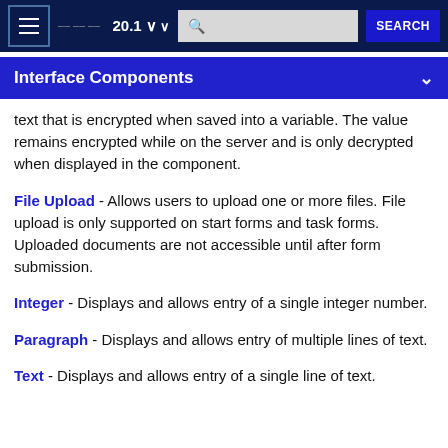20.1 | SEARCH
Interface Components
text that is encrypted when saved into a variable. The value remains encrypted while on the server and is only decrypted when displayed in the component.
File Upload - Allows users to upload one or more files. File upload is only supported on start forms and task forms. Uploaded documents are not accessible until after form submission.
Integer - Displays and allows entry of a single integer number.
Paragraph - Displays and allows entry of multiple lines of text.
Text - Displays and allows entry of a single line of text.